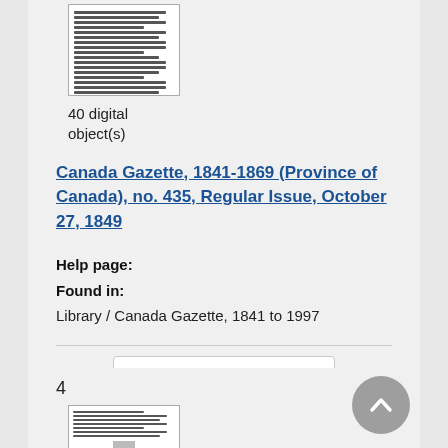[Figure (screenshot): Thumbnail image of a scanned document page with multiple text columns]
40 digital object(s)
Canada Gazette, 1841-1869 (Province of Canada), no. 435, Regular Issue, October 27, 1849
Help page:
Found in:
Library / Canada Gazette, 1841 to 1997
[Figure (screenshot): Add to My Research button with folder icon]
4
[Figure (screenshot): Thumbnail of another scanned document page]